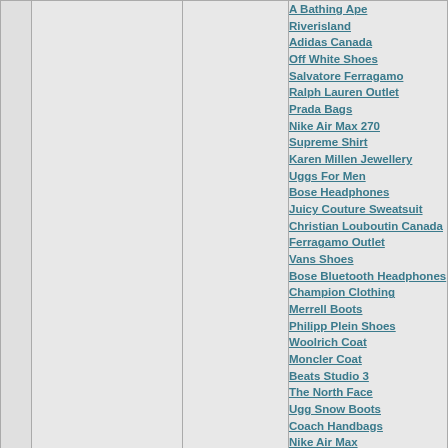A Bathing Ape
Riverisland
Adidas Canada
Off White Shoes
Salvatore Ferragamo
Ralph Lauren Outlet
Prada Bags
Nike Air Max 270
Supreme Shirt
Karen Millen Jewellery
Uggs For Men
Bose Headphones
Juicy Couture Sweatsuit
Christian Louboutin Canada
Ferragamo Outlet
Vans Shoes
Bose Bluetooth Headphones
Champion Clothing
Merrell Boots
Philipp Plein Shoes
Woolrich Coat
Moncler Coat
Beats Studio 3
The North Face
Ugg Snow Boots
Coach Handbags
Nike Air Max
Christian Louboutin Shoes
Pandora Jewelry
Pandora Charms
Vibram Boots
Reebok Sneakers
Salomon Running Shoes
Pandora Charms
Hydro Flask 40 Oz
29.02.2020 23:06
profile